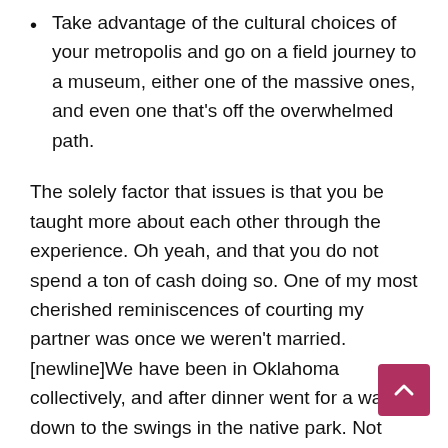Take advantage of the cultural choices of your metropolis and go on a field journey to a museum, either one of the massive ones, and even one that's off the overwhelmed path.
The solely factor that issues is that you be taught more about each other through the experience. Oh yeah, and that you do not spend a ton of cash doing so. One of my most cherished reminiscences of courting my partner was once we weren't married. [newline]We have been in Oklahoma collectively, and after dinner went for a walk down to the swings in the native park. Not only that, but it had rained earlier, and there were tons of bullfrogs out croaking and hopping about. To this present day, we name this our Bullfrog Walk and suppose on it fondly. On a rainy Saturday or lazy Sunday afternoon meet up with one another at a coffee/tea shop and order your favorites. Check out local and up-and-coming artists on display at galleries in your space.